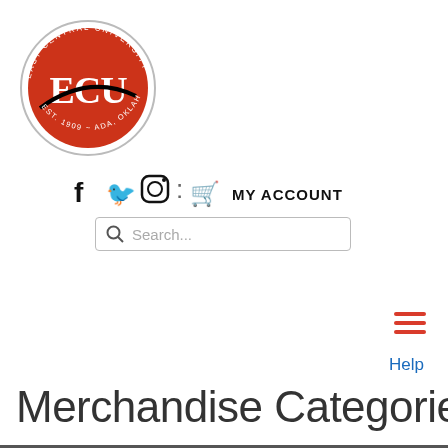[Figure (logo): East Central University (ECU) circular logo with red background, white ECU text, and text 'EAST CENTRAL UNIVERSITY EST. 1909 ADA, OKLAHOMA' around the border]
[Figure (infographic): Navigation bar with social media icons (Facebook, Twitter, Instagram), a cart icon, and MY ACCOUNT text]
[Figure (screenshot): Search bar with magnifying glass icon and placeholder text 'Search...']
[Figure (infographic): Hamburger menu icon with three red horizontal lines]
Help
Merchandise Categories